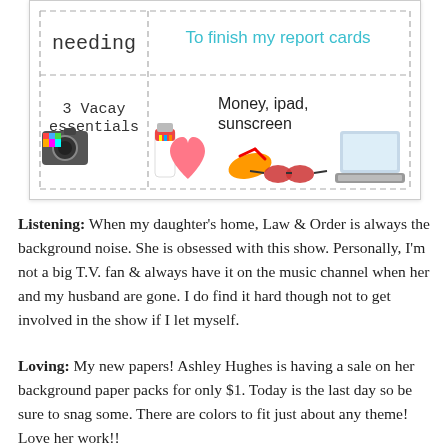[Figure (illustration): A card/worksheet graphic with dashed borders showing two rows. Top row: 'needing' label on left, 'To finish my report cards' text in teal on right. Bottom row: '3 Vacay essentials' on left, 'Money, ipad, sunscreen' text on right, with colorful clip-art items including a camera, sunscreen bottle, heart, flip flop, sunglasses, and laptop.]
Listening: When my daughter's home, Law & Order is always the background noise. She is obsessed with this show. Personally, I'm not a big T.V. fan & always have it on the music channel when her and my husband are gone. I do find it hard though not to get involved in the show if I let myself.
Loving: My new papers! Ashley Hughes is having a sale on her background paper packs for only $1. Today is the last day so be sure to snag some. There are colors to fit just about any theme! Love her work!!